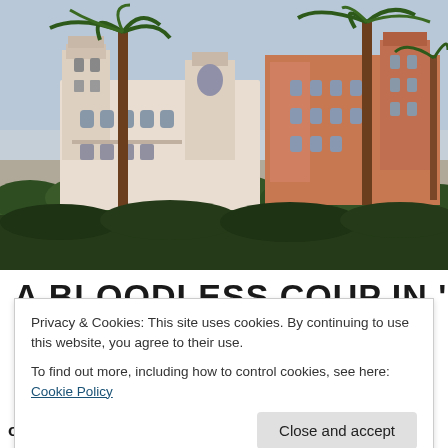[Figure (photo): Photograph of a large ornate palace-style building with Moorish and Victorian architectural elements, white and terracotta brick facade, arched windows, towers, surrounded by tall palm trees and dense green hedges in the foreground. Blue sky visible in background.]
A BLOODLESS COUP IN '52
Privacy & Cookies: This site uses cookies. By continuing to use this website, you agree to their use.
To find out more, including how to control cookies, see here: Cookie Policy
Close and accept
officers that included future president Gamal Abdel